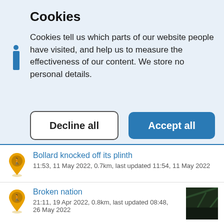Lamp reported as being out of light
Cookies
Cookies tell us which parts of our website people have visited, and help us to measure the effectiveness of our content. We store no personal details.
Decline all | Accept all
Bollard knocked off its plinth
11:53, 11 May 2022, 0.7km, last updated 11:54, 11 May 2022
Broken nation
21:11, 19 Apr 2022, 0.8km, last updated 08:48, 26 May 2022